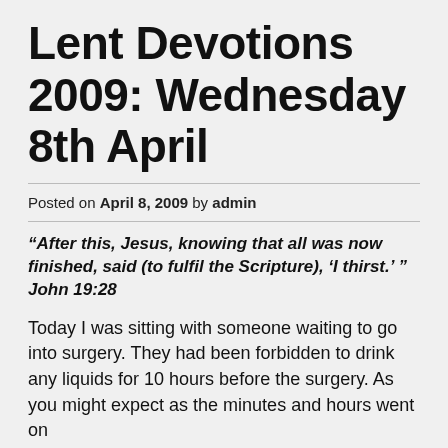Lent Devotions 2009: Wednesday 8th April
Posted on April 8, 2009 by admin
“After this, Jesus, knowing that all was now finished, said (to fulfil the Scripture), ‘I thirst.’ ” John 19:28
Today I was sitting with someone waiting to go into surgery. They had been forbidden to drink any liquids for 10 hours before the surgery. As you might expect as the minutes and hours went on